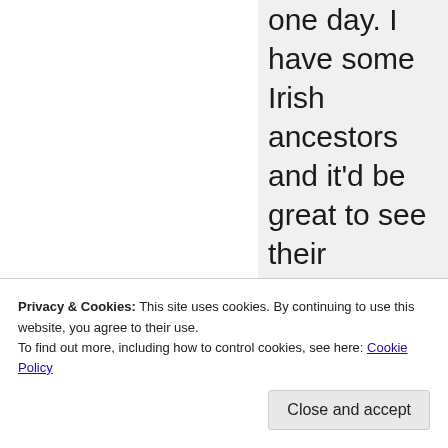one day. I have some Irish ancestors and it'd be great to see their homeland! You have a sister too? How many siblings do you have? It sounds like you come from a big family...
Privacy & Cookies: This site uses cookies. By continuing to use this website, you agree to their use.
To find out more, including how to control cookies, see here: Cookie Policy
Close and accept
like that! When I